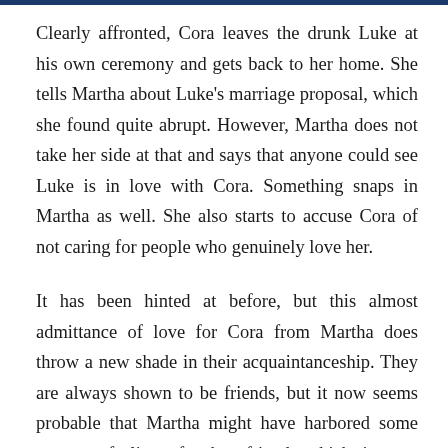Clearly affronted, Cora leaves the drunk Luke at his own ceremony and gets back to her home. She tells Martha about Luke's marriage proposal, which she found quite abrupt. However, Martha does not take her side at that and says that anyone could see Luke is in love with Cora. Something snaps in Martha as well. She also starts to accuse Cora of not caring for people who genuinely love her.
It has been hinted at before, but this almost admittance of love for Cora from Martha does throw a new shade in their acquaintanceship. They are always shown to be friends, but it now seems probable that Martha might have harbored some stronger feelings for her friend, which in turn would open up questions about Martha's sexuality. At the end of their row, Martha also leaves Cora. Distraught, Cora goes